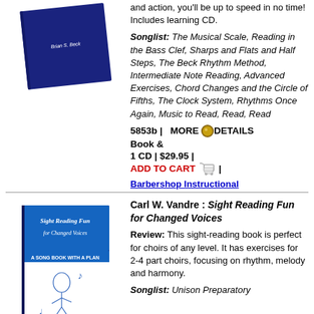[Figure (illustration): Blue book cover with author name Brian S. Beck in white text]
and action, you'll be up to speed in no time! Includes learning CD.
Songlist: The Musical Scale, Reading in the Bass Clef, Sharps and Flats and Half Steps, The Beck Rhythm Method, Intermediate Note Reading, Advanced Exercises, Chord Changes and the Circle of Fifths, The Clock System, Rhythms Once Again, Music to Read, Read, Read
5853b | MORE DETAILS
Book &
1 CD | $29.95 |
ADD TO CART |
Barbershop Instructional
[Figure (illustration): Book cover for Sight Reading Fun for Changed Voices by Carl W. Vandre, blue and white cover with illustration]
Carl W. Vandre : Sight Reading Fun for Changed Voices
Review: This sight-reading book is perfect for choirs of any level. It has exercises for 2-4 part choirs, focusing on rhythm, melody and harmony.
Songlist: Unison Preparatory